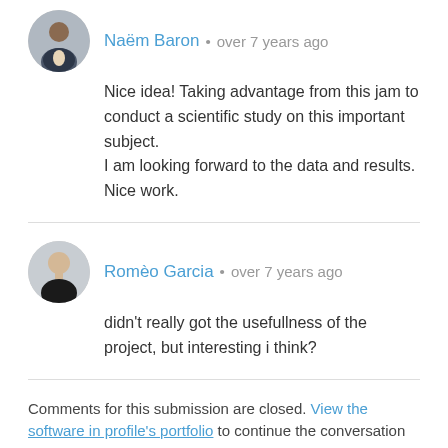[Figure (photo): Circular avatar photo of Naëm Baron, a man in a suit]
Naëm Baron • over 7 years ago
Nice idea! Taking advantage from this jam to conduct a scientific study on this important subject.
I am looking forward to the data and results. Nice work.
[Figure (photo): Circular avatar photo of Romèo Garcia, a man in a black shirt]
Romèo Garcia • over 7 years ago
didn't really got the usefullness of the project, but interesting i think?
Comments for this submission are closed. View the software in profile's portfolio to continue the conversation